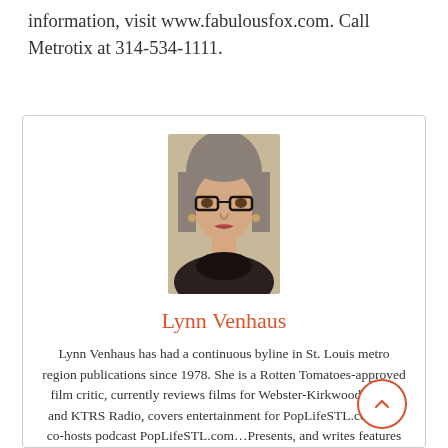information, visit www.fabulousfox.com. Call Metrotix at 314-534-1111.
[Figure (photo): Headshot portrait of Lynn Venhaus, a woman with gray hair and glasses, wearing a dark patterned top.]
Lynn Venhaus
Lynn Venhaus has had a continuous byline in St. Louis metro region publications since 1978. She is a Rotten Tomatoes-approved film critic, currently reviews films for Webster-Kirkwood Times and KTRS Radio, covers entertainment for PopLifeSTL.com and co-hosts podcast PopLifeSTL.com...Presents, and writes features and news for Belleville News-Democrat and contributes to other publications. She is a